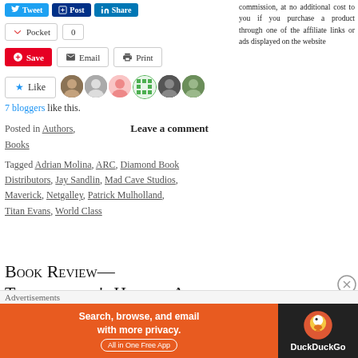[Figure (screenshot): Social media sharing buttons: Tweet, Post, Share (LinkedIn)]
[Figure (screenshot): Pocket save button with count 0]
[Figure (screenshot): Save (Pinterest), Email, and Print buttons]
[Figure (screenshot): Like button with 6 avatar thumbnails of bloggers]
7 bloggers like this.
Posted in Authors, Books
Tagged Adrian Molina, ARC, Diamond Book Distributors, Jay Sandlin, Mad Cave Studios, Maverick, Netgalley, Patrick Mulholland, Titan Evans, World Class
Leave a comment
Book Review— Transylvania's History A
commission, at no additional cost to you if you purchase a product through one of the affiliate links or ads displayed on the website
Advertisements
[Figure (screenshot): DuckDuckGo advertisement banner: Search, browse, and email with more privacy. All in One Free App]